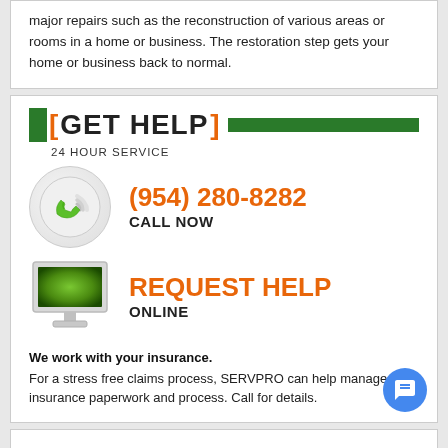major repairs such as the reconstruction of various areas or rooms in a home or business. The restoration step gets your home or business back to normal.
[ GET HELP ] 24 HOUR SERVICE
[Figure (illustration): Green telephone handset icon with wifi signal waves inside a circular frame]
(954) 280-8282 CALL NOW
[Figure (illustration): Desktop computer monitor icon with green glowing screen]
REQUEST HELP ONLINE
We work with your insurance.
For a stress free claims process, SERVPRO can help manage the insurance paperwork and process. Call for details.